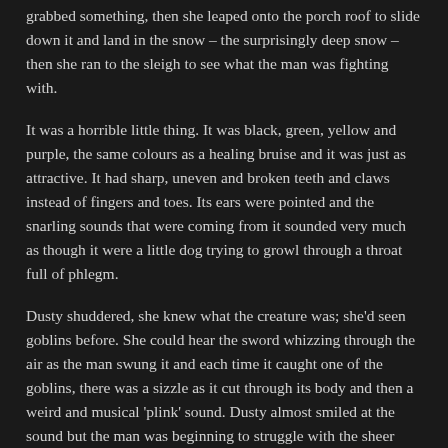grabbed something, then she leaped onto the porch roof to slide down it and land in the snow – the surprisingly deep snow – then she ran to the sleigh to see what the man was fighting with.
It was a horrible little thing. It was black, green, yellow and purple, the same colours as a healing bruise and it was just as attractive. It had sharp, uneven and broken teeth and claws instead of fingers and toes. Its ears were pointed and the snarling sounds that were coming from it sounded very much as though it were a little dog trying to growl through a throat full of phlegm.
Dusty shuddered, she knew what the creature was; she'd seen goblins before. She could hear the sword whizzing through the air as the man swung it and each time it caught one of the goblins, there was a sizzle as it cut through its body and then a weird and musical 'plink' sound. Dusty almost smiled at the sound but the man was beginning to struggle with the sheer weight of numbers, so she unfurled her unicorn rope and threw it over a bunch of the creatures. Instead of the singular 'plink' as when the sword dispatched one, she managed to get three or four and the noise was similar to pebbles being dropped into a pool.